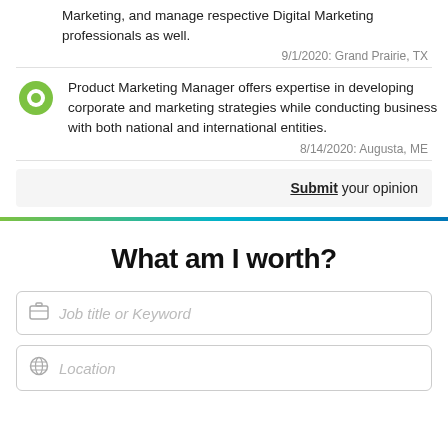Marketing, and manage respective Digital Marketing professionals as well.
9/1/2020: Grand Prairie, TX
Product Marketing Manager offers expertise in developing corporate and marketing strategies while conducting business with both national and international entities.
8/14/2020: Augusta, ME
Submit your opinion
What am I worth?
Job title or Keyword
Location